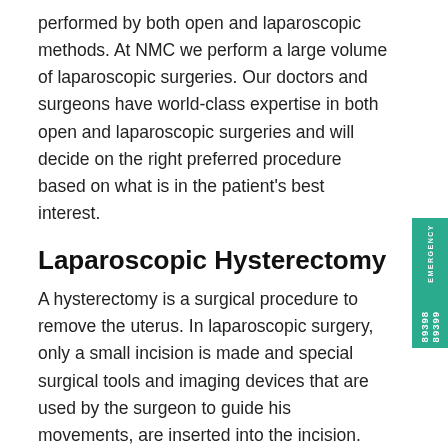performed by both open and laparoscopic methods. At NMC we perform a large volume of laparoscopic surgeries. Our doctors and surgeons have world-class expertise in both open and laparoscopic surgeries and will decide on the right preferred procedure based on what is in the patient's best interest.
Laparoscopic Hysterectomy
A hysterectomy is a surgical procedure to remove the uterus. In laparoscopic surgery, only a small incision is made and special surgical tools and imaging devices that are used by the surgeon to guide his movements, are inserted into the incision. The uterus is removed with minimal blood loss and the recovery period is significantly reduced. The scarring and post surgical pain are also greatly reduced. The doctor will decide if a patient is a suitable candidate for laparoscopic surgery.
There could be many reasons for this procedure to